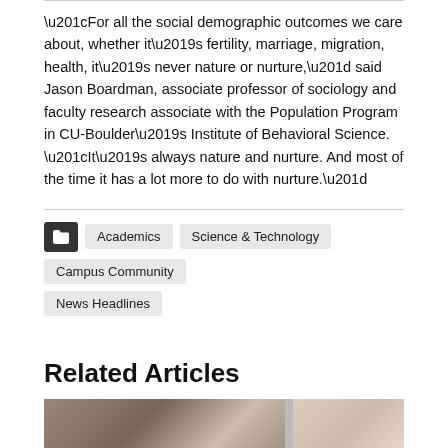“For all the social demographic outcomes we care about, whether it’s fertility, marriage, migration, health, it’s never nature or nurture,” said Jason Boardman, associate professor of sociology and faculty research associate with the Population Program in CU-Boulder’s Institute of Behavioral Science.
“It’s always nature and nurture. And most of the time it has a lot more to do with nurture.”
Academics
Science & Technology
Campus Community
News Headlines
Related Articles
[Figure (photo): Partial view of a person's face and upper body, cropped at bottom of page]